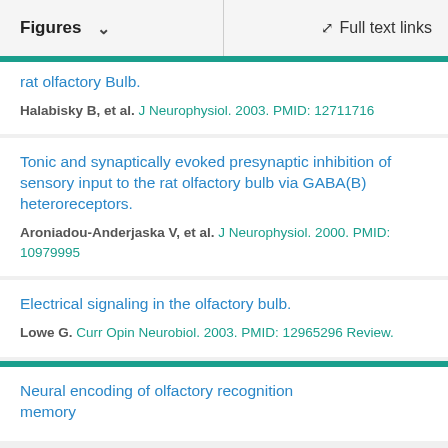Figures  ∨    Full text links
rat olfactory Bulb.
Halabisky B, et al. J Neurophysiol. 2003. PMID: 12711716
Tonic and synaptically evoked presynaptic inhibition of sensory input to the rat olfactory bulb via GABA(B) heteroreceptors.
Aroniadou-Anderjaska V, et al. J Neurophysiol. 2000. PMID: 10979995
Electrical signaling in the olfactory bulb.
Lowe G. Curr Opin Neurobiol. 2003. PMID: 12965296 Review.
Neural encoding of olfactory recognition memory